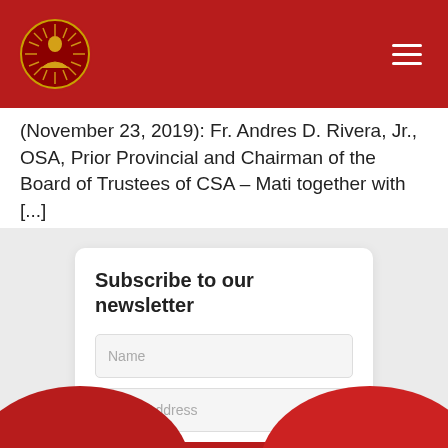CSA - Mati
(November 23, 2019): Fr. Andres D. Rivera, Jr., OSA, Prior Provincial and Chairman of the Board of Trustees of CSA – Mati together with [...]
Subscribe to our newsletter